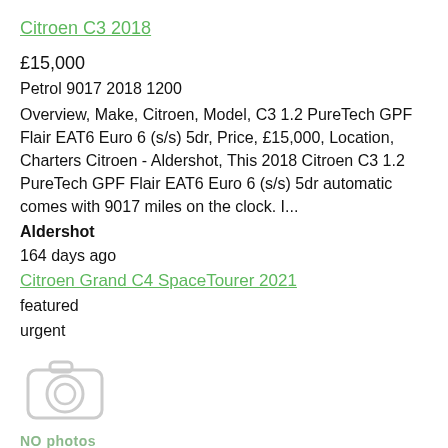Citroen C3 2018
£15,000
Petrol 9017 2018 1200
Overview, Make, Citroen, Model, C3 1.2 PureTech GPF Flair EAT6 Euro 6 (s/s) 5dr, Price, £15,000, Location, Charters Citroen - Aldershot, This 2018 Citroen C3 1.2 PureTech GPF Flair EAT6 Euro 6 (s/s) 5dr automatic comes with 9017 miles on the clock. I...
Aldershot
164 days ago
Citroen Grand C4 SpaceTourer 2021
featured
urgent
[Figure (photo): Camera placeholder icon indicating no photos available]
NO photos